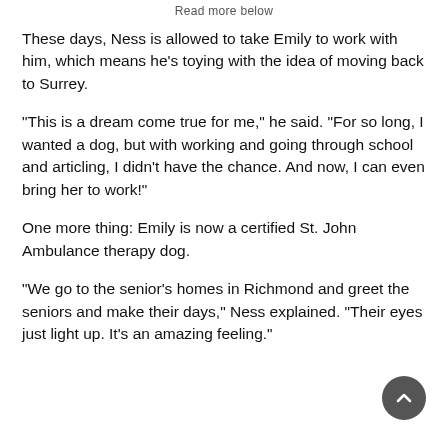Read more below
These days, Ness is allowed to take Emily to work with him, which means he's toying with the idea of moving back to Surrey.
“This is a dream come true for me,” he said. “For so long, I wanted a dog, but with working and going through school and articling, I didn’t have the chance. And now, I can even bring her to work!”
One more thing: Emily is now a certified St. John Ambulance therapy dog.
“We go to the senior’s homes in Richmond and greet the seniors and make their days,” Ness explained. “Their eyes just light up. It’s an amazing feeling.”